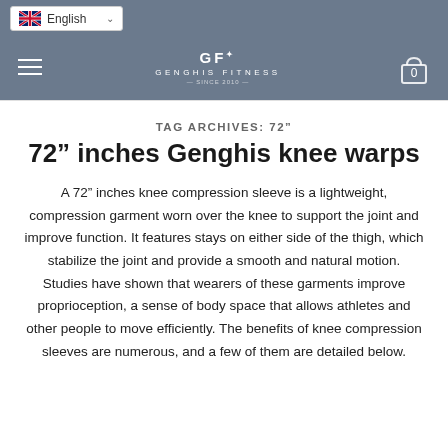English (language selector)
Genghis Fitness logo, navigation, cart
TAG ARCHIVES: 72"
72" inches Genghis knee warps
A 72" inches knee compression sleeve is a lightweight, compression garment worn over the knee to support the joint and improve function. It features stays on either side of the thigh, which stabilize the joint and provide a smooth and natural motion. Studies have shown that wearers of these garments improve proprioception, a sense of body space that allows athletes and other people to move efficiently. The benefits of knee compression sleeves are numerous, and a few of them are detailed below.